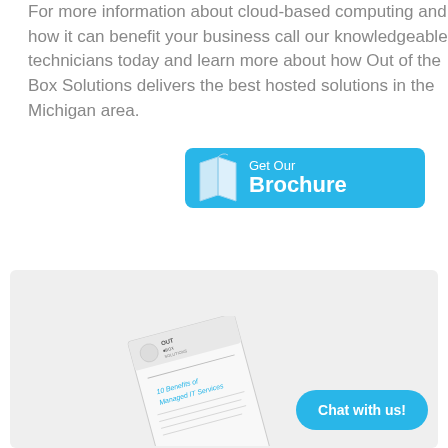For more information about cloud-based computing and how it can benefit your business call our knowledgeable technicians today and learn more about how Out of the Box Solutions delivers the best hosted solutions in the Michigan area.
[Figure (illustration): A cyan/blue rounded rectangle button with an open book icon on the left and white text reading 'Get Our Brochure']
Free IT Whitepaper
[Figure (illustration): A tilted white document/brochure with 'OUT OF BOX SOLUTIONS' logo and text '10 Benefits of Managed IT Services' on it]
[Figure (illustration): A cyan oval button with white bold text 'Chat with us!']